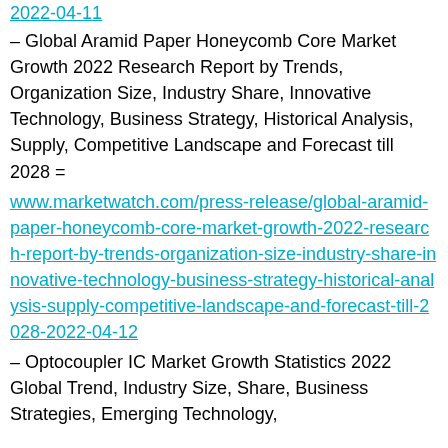2022-04-11
– Global Aramid Paper Honeycomb Core Market Growth 2022 Research Report by Trends, Organization Size, Industry Share, Innovative Technology, Business Strategy, Historical Analysis, Supply, Competitive Landscape and Forecast till 2028 =
www.marketwatch.com/press-release/global-aramid-paper-honeycomb-core-market-growth-2022-research-report-by-trends-organization-size-industry-share-innovative-technology-business-strategy-historical-analysis-supply-competitive-landscape-and-forecast-till-2028-2022-04-12
– Optocoupler IC Market Growth Statistics 2022 Global Trend, Industry Size, Share, Business Strategies, Emerging Technology,